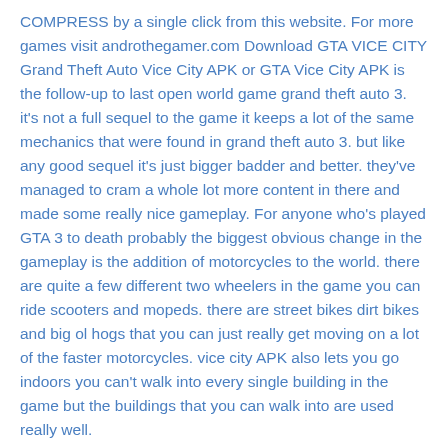COMPRESS by a single click from this website. For more games visit androthegamer.com Download GTA VICE CITY Grand Theft Auto Vice City APK or GTA Vice City APK is the follow-up to last open world game grand theft auto 3. it's not a full sequel to the game it keeps a lot of the same mechanics that were found in grand theft auto 3. but like any good sequel it's just bigger badder and better. they've managed to cram a whole lot more content in there and made some really nice gameplay. For anyone who's played GTA 3 to death probably the biggest obvious change in the gameplay is the addition of motorcycles to the world. there are quite a few different two wheelers in the game you can ride scooters and mopeds. there are street bikes dirt bikes and big ol hogs that you can just really get moving on a lot of the faster motorcycles. vice city APK also lets you go indoors you can't walk into every single building in the game but the buildings that you can walk into are used really well.
3     Thanks for reading. Have a good day